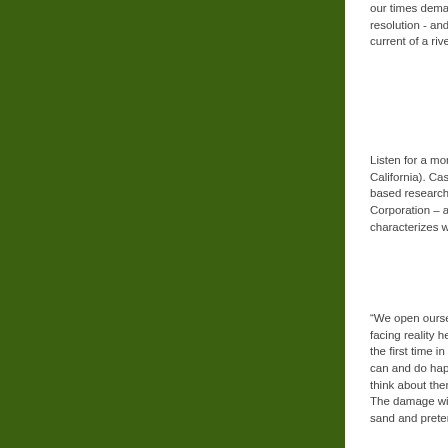[Figure (illustration): Dark olive/forest green rectangular panel occupying the left ~77% of the page]
our times demand resolution - and the current of a river).
Listen for a moment California). Casti is based research ins Corporation – and characterizes what
“We open ourselve facing reality head the first time in hist can and do happen think about them, a The damage will be sand and pretendin
We humans exist w assumptions. Yet,